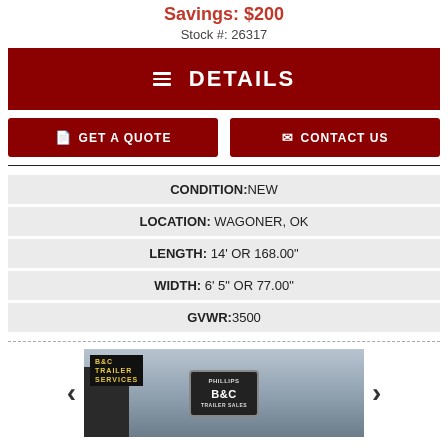Savings: $200
Stock #: 26317
DETAILS
GET A QUOTE
CONTACT US
| CONDITION: | NEW |
| LOCATION: | WAGONER, OK |
| LENGTH: | 14' OR 168.00" |
| WIDTH: | 6' 5" OR 77.00" |
| GVWR: | 3500 |
[Figure (photo): Photo of a B&C Trailer Services enclosed trailer, with B&C logo badge visible on the side. A door opening is visible on the left.]